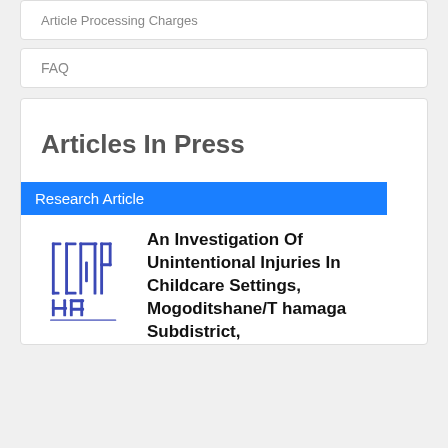Article Processing Charges
FAQ
Articles In Press
Research Article
[Figure (logo): JCMPHA journal logo in blue stylized text]
An Investigation Of Unintentional Injuries In Childcare Settings, Mogoditshane/Thamaga Subdistrict,